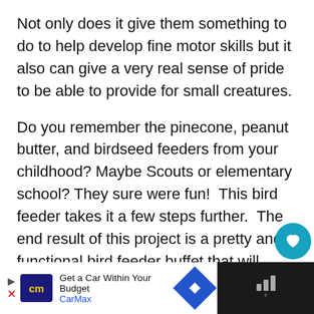Not only does it give them something to do to help develop fine motor skills but it also can give a very real sense of pride to be able to provide for small creatures.
Do you remember the pinecone, peanut butter, and birdseed feeders from your childhood? Maybe Scouts or elementary school? They sure were fun! This bird feeder takes it a few steps further. The end result of this project is a pretty and functional bird feeder buffet that will likely last through a couple of seasons as it is very easy to refill.
[Figure (screenshot): UI overlay with teal heart/like button, share count of 2, and share icon button]
[Figure (infographic): What's Next banner showing Angry Birds Easter Eggs with orange circle icon]
[Figure (screenshot): Advertisement bar: CarMax ad saying Get a Car Within Your Budget, with CM logo, navigation icon, and dark right panel with audio/signal icon]